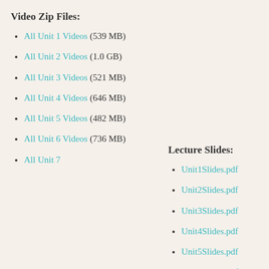Video Zip Files:
All Unit 1 Videos (539 MB)
All Unit 2 Videos (1.0 GB)
All Unit 3 Videos (521 MB)
All Unit 4 Videos (646 MB)
All Unit 5 Videos (482 MB)
All Unit 6 Videos (736 MB)
All Unit 7
Lecture Slides:
Unit1Slides.pdf
Unit2Slides.pdf
Unit3Slides.pdf
Unit4Slides.pdf
Unit5Slides.pdf
Unit6Slides.pdf
Unit7Slides.pdf
Unit8Slides.pdf